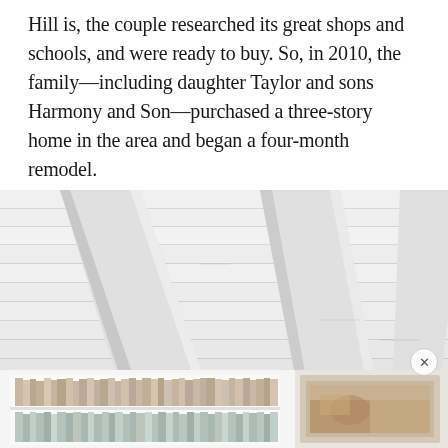Hill is, the couple researched its great shops and schools, and were ready to buy. So, in 2010, the family—including daughter Taylor and sons Harmony and Son—purchased a three-story home in the area and began a four-month remodel.
[Figure (photo): Close-up architectural photo of a white-painted wood plank ceiling with exposed beams, viewed from below at an angle, in a bright airy interior space.]
[Figure (photo): Partial view of a bright room with white built-in bookshelves filled with books on the left, and a framed artwork or painting on the right, both partially cropped.]